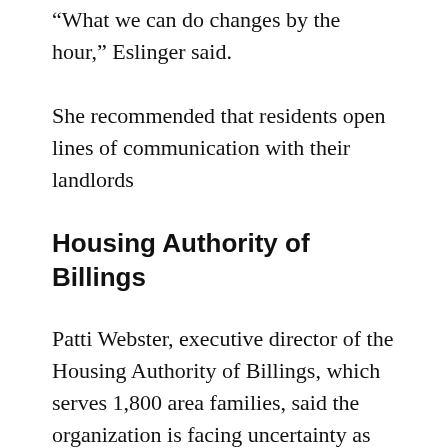“What we can do changes by the hour,” Eslinger said.
She recommended that residents open lines of communication with their landlords
Housing Authority of Billings
Patti Webster, executive director of the Housing Authority of Billings, which serves 1,800 area families, said the organization is facing uncertainty as residents lose their jobs.